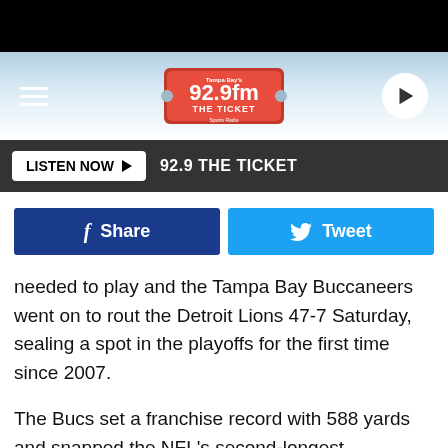[Figure (logo): 92.9 FM The Ticket radio station logo on header bar with hamburger menu and play button]
LISTEN NOW  92.9 THE TICKET
[Figure (infographic): Facebook Share button and Twitter Tweet button social sharing row]
needed to play and the Tampa Bay Buccaneers went on to rout the Detroit Lions 47-7 Saturday, sealing a spot in the playoffs for the first time since 2007.
The Bucs set a franchise record with 588 yards and snapped the NFL's second-longest postseason drought behind Cleveland's 18-year run that can end Sunday.
Tampa Bay rested Brady while they were ahead 34-0, Tampa's largest halftime lead in franchise history. Blaine Gabbert